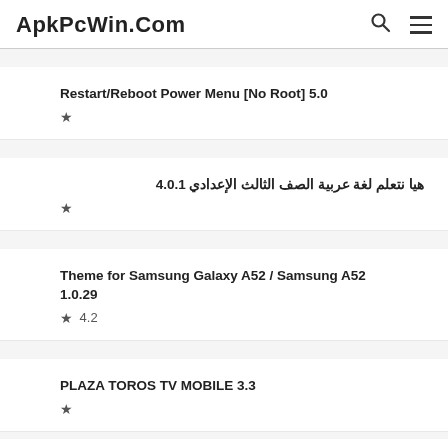ApkPcWin.Com
Restart/Reboot Power Menu [No Root] 5.0 ★
هيا نتعلم لغة عربية الصف الثالث الإعدادي 4.0.1 ★
Theme for Samsung Galaxy A52 / Samsung A52 1.0.29 ★ 4.2
PLAZA TOROS TV MOBILE 3.3 ★